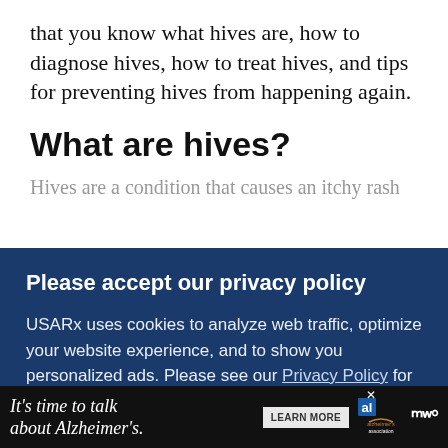that you know what hives are, how to diagnose hives, how to treat hives, and tips for preventing hives from happening again.
What are hives?
Hives are a condition that causes an itchy rash
Please accept our privacy policy
USARx uses cookies to analyze web traffic, optimize your website experience, and to show you personalized ads. Please see our Privacy Policy for additional information.
ACCEPT
factors.
[Figure (screenshot): Advertisement banner: 'It's time to talk about Alzheimer's.' with LEARN MORE button and Alzheimer's Association logo]